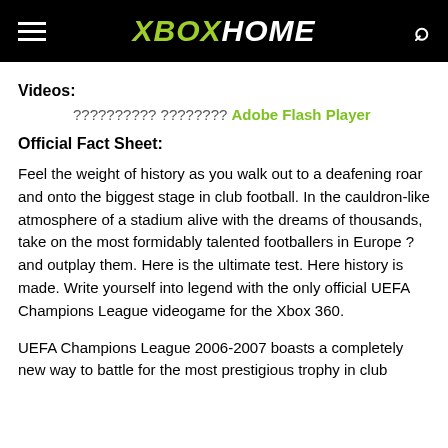XBOX HOME
Videos:
?????????? ???????? Adobe Flash Player
Official Fact Sheet:
Feel the weight of history as you walk out to a deafening roar and onto the biggest stage in club football. In the cauldron-like atmosphere of a stadium alive with the dreams of thousands, take on the most formidably talented footballers in Europe ? and outplay them. Here is the ultimate test. Here history is made. Write yourself into legend with the only official UEFA Champions League videogame for the Xbox 360.
UEFA Champions League 2006-2007 boasts a completely new way to battle for the most prestigious trophy in club